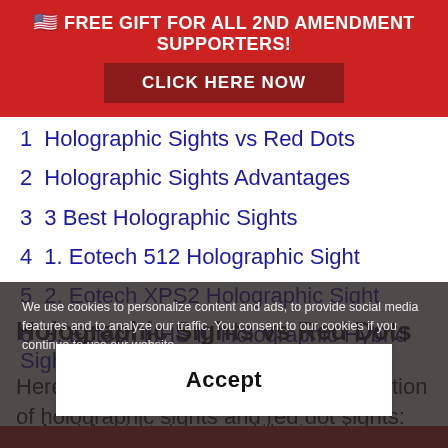🇺🇸 FREE GIFT FOR ALL 2ND AMENDMENT SUPPORTERS!
CLICK HERE NOW
1  Holographic Sights vs Red Dots
2  Holographic Sights Advantages
3  3 Best Holographic Sights
4  1. Eotech 512 Holographic Sight
5  2. Eotech XPS2 Holographic Sight
6  3. Eotech HHS III Holographic Hybrid Sight
We use cookies to personalize content and ads, to provide social media features and to analyze our traffic. You consent to our cookies if you continue to use our website.
Holographic Sights vs Red Dots
Here's an extremely simplified explanation of holographic sights and red dot sights:
A red dot sight places a red illuminated
Accept